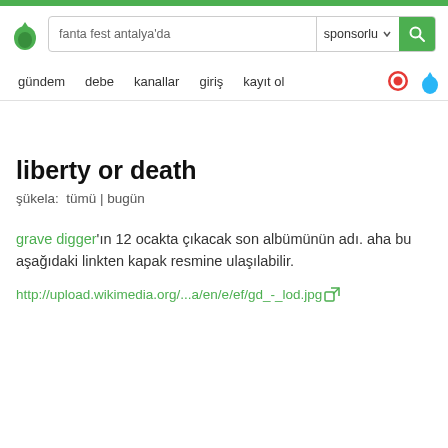fanta fest antalya'da  sponsorlu
gündem  debe  kanallar  giriş  kayıt ol
liberty or death
şükela:  tümü | bugün
grave digger'ın 12 ocakta çıkacak son albümünün adı. aha bu aşağıdaki linkten kapak resmine ulaşılabilir.
http://upload.wikimedia.org/...a/en/e/ef/gd_-_lod.jpg